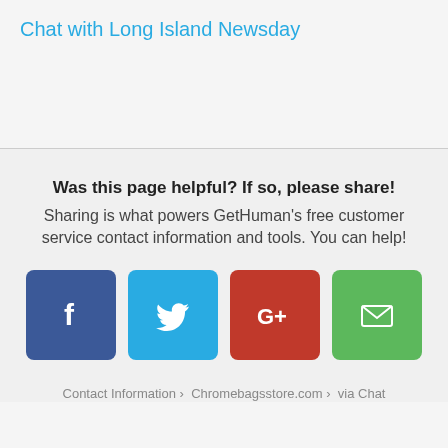Chat with Long Island Newsday
Was this page helpful? If so, please share!
Sharing is what powers GetHuman's free customer service contact information and tools. You can help!
[Figure (infographic): Four social share buttons: Facebook (blue, f icon), Twitter (light blue, bird icon), Google+ (red, G+ icon), Email (green, envelope icon)]
Contact Information › Chromebagsstore.com › via Chat